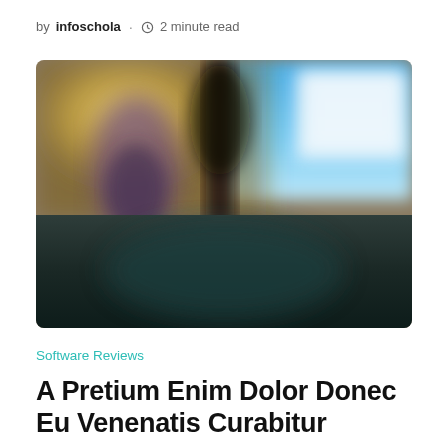by infoschola · 2 minute read
[Figure (photo): Blurred photograph showing an outdoor scene with warm golden tones on the left side and a blue sky or screen on the upper right, with a dark foreground element in the center-bottom.]
Software Reviews
A Pretium Enim Dolor Donec Eu Venenatis Curabitur